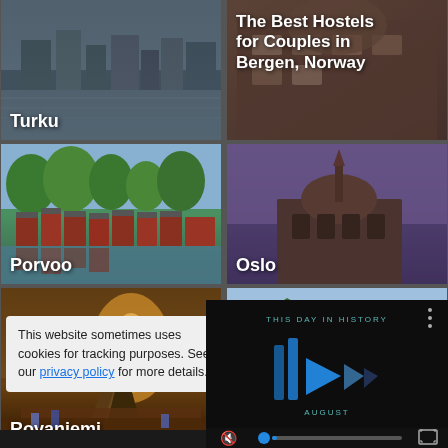[Figure (photo): City waterfront photo labeled Turku]
[Figure (photo): Building/hostel photo with text: The Best Hostels for Couples in Bergen, Norway]
[Figure (photo): Red wooden buildings by river labeled Porvoo]
[Figure (photo): Domed building with purple sky labeled Oslo]
[Figure (photo): Illuminated building at night labeled Rovaniemi]
[Figure (photo): Colorful Bryggen buildings with green mountain backdrop, Bergen]
[Figure (screenshot): Video overlay showing THIS DAY IN HISTORY with play controls and AUGUST label]
This website sometimes uses cookies for tracking purposes. See our privacy policy for more details.